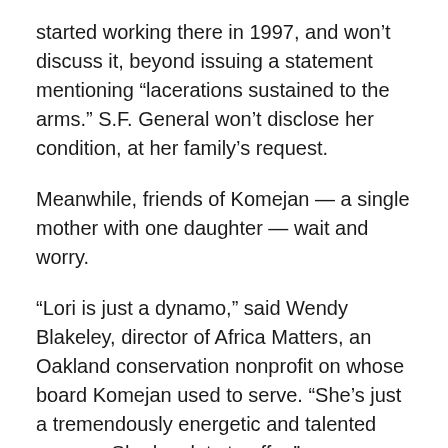started working there in 1997, and won't discuss it, beyond issuing a statement mentioning “lacerations sustained to the arms.” S.F. General won’t disclose her condition, at her family’s request.
Meanwhile, friends of Komejan — a single mother with one daughter — wait and worry.
“Lori is just a dynamo,” said Wendy Blakeley, director of Africa Matters, an Oakland conservation nonprofit on whose board Komejan used to serve. “She’s just a tremendously energetic and talented woman. She has lots to offer.”
Even for onlookers such as Chari and his son, Krishna — who feared tigers even before the attack — the effects of the attack linger.
“He’s always scared that there are tigers under the bed at